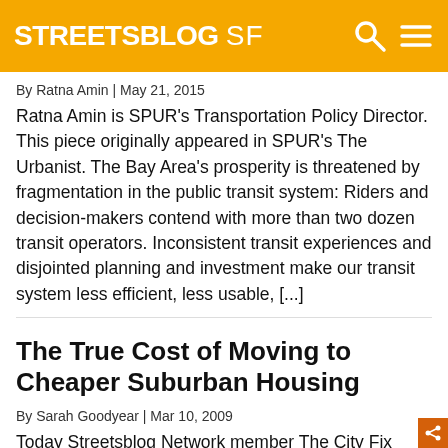STREETSBLOG SF
By Ratna Amin | May 21, 2015
Ratna Amin is SPUR's Transportation Policy Director. This piece originally appeared in SPUR's The Urbanist. The Bay Area's prosperity is threatened by fragmentation in the public transit system: Riders and decision-makers contend with more than two dozen transit operators. Inconsistent transit experiences and disjointed planning and investment make our transit system less efficient, less usable, [...]
The True Cost of Moving to Cheaper Suburban Housing
By Sarah Goodyear | Mar 10, 2009
Today Streetsblog Network member The City Fix reports on the "cost of place" in the Washington, DC, area — the way that the price of housing and transportation stacks up for